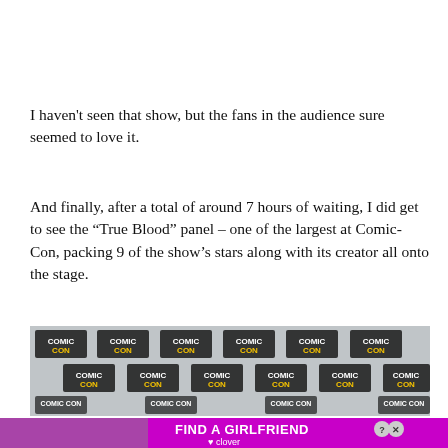I haven't seen that show, but the fans in the audience sure seemed to love it.
And finally, after a total of around 7 hours of waiting, I did get to see the “True Blood” panel – one of the largest at Comic-Con, packing 9 of the show’s stars along with its creator all onto the stage.
[Figure (photo): Comic-Con International backdrop banner wall with repeated Comic-Con eye logo]
[Figure (screenshot): Advertisement banner: FIND A GIRLFRIEND with Clover app branding on magenta background with close and help icons]